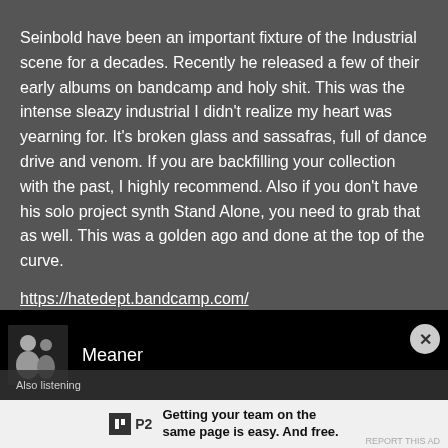Seinbold have been an important fixture of the Industrial scene for a decades. Recently he released a few of their early albums on bandcamp and holy shit. This was the intense sleazy industrial I didn't realize my heart was yearning for. It's broken glass and sassafras, full of dance drive and venom. If you are backfilling your collection with the past, I highly recommend. Also if you don't have his solo project synth Stand Alone, you need to grab that as well. This was a golden ago and done at the top of the curve.

https://hatedept.bandcamp.com/
[Figure (screenshot): Black media player bar showing thumbnail image and title 'Meaner' with a close (X) button on the right]
[Figure (infographic): Advertisement banner for P2 product: logo with P2 text, tagline 'Getting your team on the same page is easy. And free.']